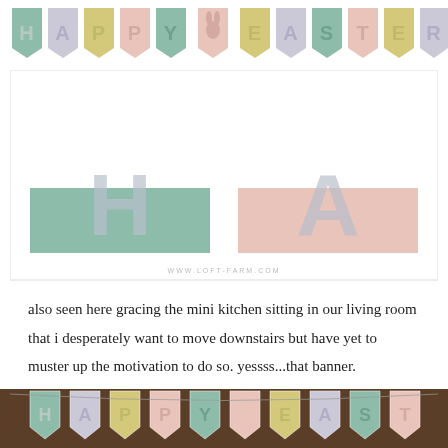[Figure (illustration): Happy Easter banner strip of small pennant flags at the top of the page, with letters H-A-P-P-Y and a bunny, then E-A-S-T-E-R on pastel colored pennant flags]
[Figure (illustration): Printable preview showing two large pennant banner flags: one green with letter H and one pink/blush with letter A, with watermark www.loft-farm.com]
also seen here gracing the mini kitchen sitting in our living room that i desperately want to move downstairs but have yet to muster up the motivation to do so. yessss...that banner.
[Figure (photo): Photo of a Happy Easter banner with pennant flags hung along a wooden surface]